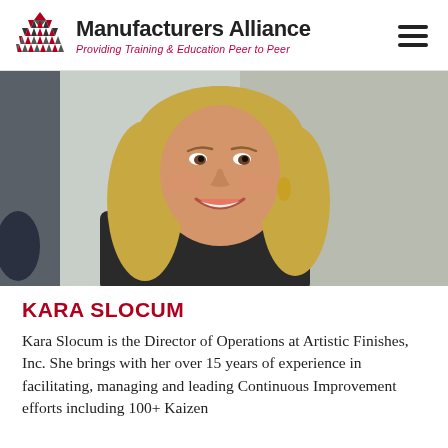Manufacturers Alliance — Providing Training & Education Peer to Peer
[Figure (photo): Smiling blonde woman (Kara Slocum) photographed at an event, with another person partially visible at left]
KARA SLOCUM
Kara Slocum is the Director of Operations at Artistic Finishes, Inc. She brings with her over 15 years of experience in facilitating, managing and leading Continuous Improvement efforts including 100+ Kaizen activities.